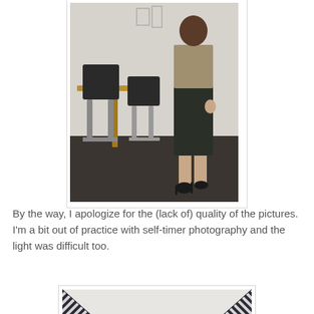[Figure (photo): A person standing against a wall wearing a dark pencil skirt, beige top, and black high heels. A dining table and black chairs are visible in the background.]
By the way, I apologize for the (lack of) quality of the pictures. I'm a bit out of practice with self-timer photography and the light was difficult too.
[Figure (photo): Close-up of a fabric with black and white diagonal herringbone or chevron stripes pattern.]